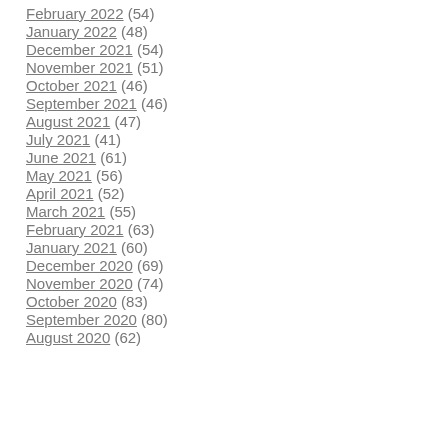February 2022 (54)
January 2022 (48)
December 2021 (54)
November 2021 (51)
October 2021 (46)
September 2021 (46)
August 2021 (47)
July 2021 (41)
June 2021 (61)
May 2021 (56)
April 2021 (52)
March 2021 (55)
February 2021 (63)
January 2021 (60)
December 2020 (69)
November 2020 (74)
October 2020 (83)
September 2020 (80)
August 2020 (62)